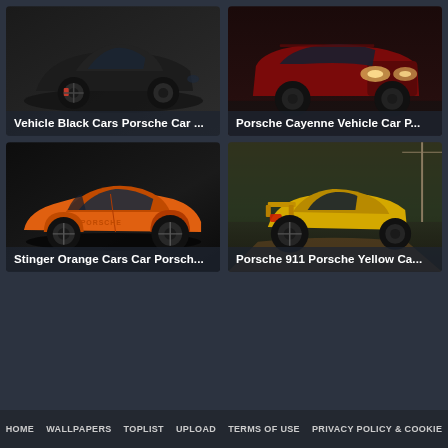[Figure (photo): Black Porsche sports car on dark background, front three-quarter view]
Vehicle Black Cars Porsche Car ...
[Figure (photo): Red Porsche Cayenne SUV with headlights on, front view at night]
Porsche Cayenne Vehicle Car P...
[Figure (photo): Orange classic Porsche 911 Stinger on white background, side view]
Stinger Orange Cars Car Porsch...
[Figure (photo): Yellow Porsche 911 on a forest dirt road, rear three-quarter view]
Porsche 911 Porsche Yellow Ca...
HOME   WALLPAPERS   TOPLIST   UPLOAD   TERMS OF USE   PRIVACY POLICY & COOKIE